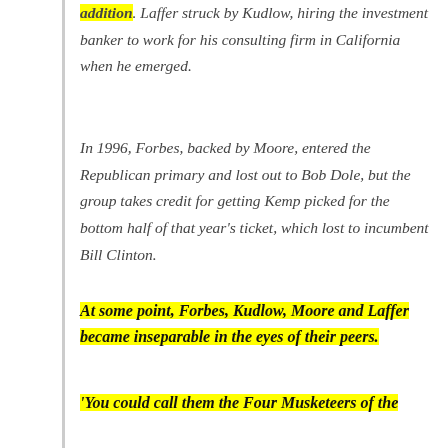addition. Laffer struck by Kudlow, hiring the investment banker to work for his consulting firm in California when he emerged.
In 1996, Forbes, backed by Moore, entered the Republican primary and lost out to Bob Dole, but the group takes credit for getting Kemp picked for the bottom half of that year's ticket, which lost to incumbent Bill Clinton.
At some point, Forbes, Kudlow, Moore and Laffer became inseparable in the eyes of their peers.
'You could call them the Four Musketeers of the